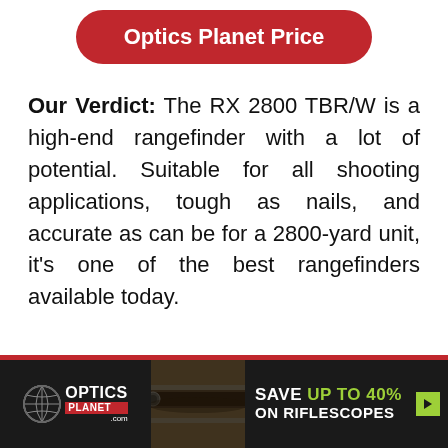Optics Planet Price
Our Verdict: The RX 2800 TBR/W is a high-end rangefinder with a lot of potential. Suitable for all shooting applications, tough as nails, and accurate as can be for a 2800-yard unit, it's one of the best rangefinders available today.
[Figure (other): Optics Planet advertisement banner with logo on left, rifle scope image in center, and SAVE UP TO 40% ON RIFLESCOPES text on right with green arrow button]